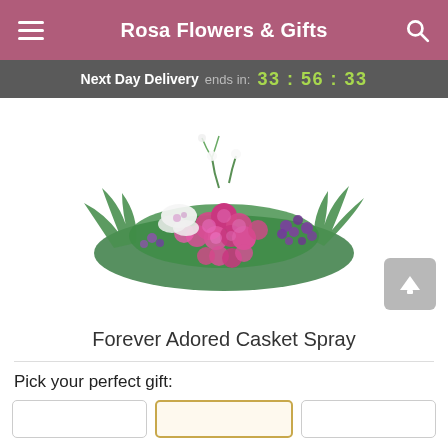Rosa Flowers & Gifts
Next Day Delivery ends in: 33 : 56 : 33
[Figure (photo): Forever Adored Casket Spray — a large floral casket spray arrangement featuring pink roses, white orchids, purple berries and greenery on a white background.]
Forever Adored Casket Spray
Pick your perfect gift: